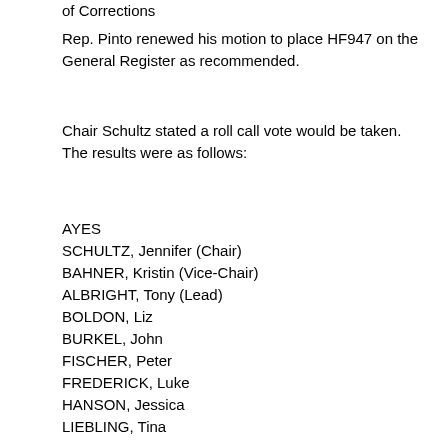of Corrections
Rep. Pinto renewed his motion to place HF947 on the General Register as recommended.
Chair Schultz stated a roll call vote would be taken. The results were as follows:
AYES
SCHULTZ, Jennifer (Chair)
BAHNER, Kristin (Vice-Chair)
ALBRIGHT, Tony (Lead)
BOLDON, Liz
BURKEL, John
FISCHER, Peter
FREDERICK, Luke
HANSON, Jessica
LIEBLING, Tina
MOLLER, Kelly
NOOR, Mohamud
NOVOTNY, Paul
PINTO, Dave
RASMUSSON, Jordan